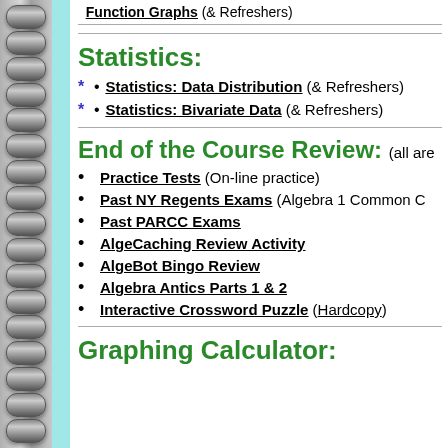Function Graphs (& Refreshers)
Statistics:
* • Statistics: Data Distribution (& Refreshers)
* • Statistics: Bivariate Data (& Refreshers)
End of the Course Review: (all are
• Practice Tests (On-line practice)
• Past NY Regents Exams (Algebra 1 Common C…)
• Past PARCC Exams
• AlgeCaching Review Activity
• AlgeBot Bingo Review
• Algebra Antics Parts 1 & 2
• Interactive Crossword Puzzle (Hardcopy)
Graphing Calculator: